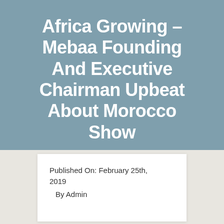Africa Growing – Mebaa Founding And Executive Chairman Upbeat About Morocco Show
Published On: February 25th, 2019
By Admin